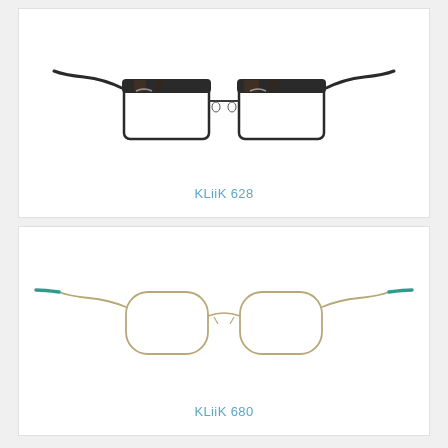[Figure (photo): Product photo of KLiiK 628 eyeglasses — semi-rimless browline style frames in dark tortoise/black with metal lower rims, viewed at a three-quarter angle]
KLiiK 628
[Figure (photo): Product photo of KLiiK 680 eyeglasses — thin metal wire frame with rounded square lenses, gold/silver metal arms with teal/turquoise temple tips, viewed at a three-quarter angle]
KLiiK 680